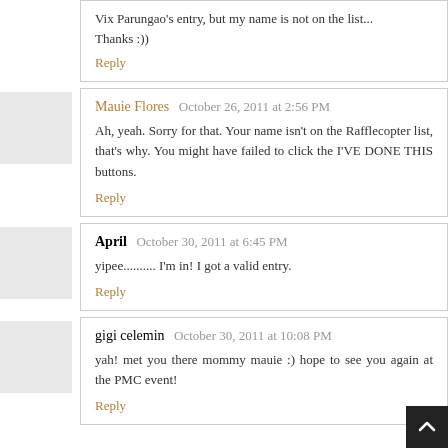Vix Parungao's entry, but my name is not on the list... Thanks :))
Reply
Mauie Flores  October 26, 2011 at 2:56 PM
Ah, yeah. Sorry for that. Your name isn't on the Rafflecopter list, that's why. You might have failed to click the I'VE DONE THIS buttons.
Reply
April  October 30, 2011 at 6:45 PM
yipee.......... I'm in! I got a valid entry.
Reply
gigi celemin  October 30, 2011 at 10:08 PM
yah! met you there mommy mauie :) hope to see you again at the PMC event!
Reply